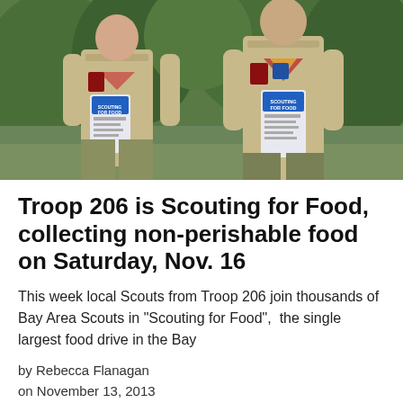[Figure (photo): Two Boy Scouts in tan uniforms holding 'Scouting for Food' door hangers, standing outdoors in front of green foliage.]
Troop 206 is Scouting for Food, collecting non-perishable food on Saturday, Nov. 16
This week local Scouts from Troop 206 join thousands of Bay Area Scouts in "Scouting for Food",  the single largest food drive in the Bay
by Rebecca Flanagan
on November 13, 2013